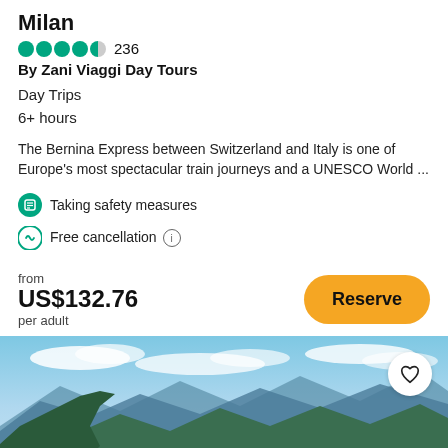Milan
236 reviews, 4.5 stars, By Zani Viaggi Day Tours
Day Trips
6+ hours
The Bernina Express between Switzerland and Italy is one of Europe's most spectacular train journeys and a UNESCO World ...
Taking safety measures
Free cancellation
from US$132.76 per adult
[Figure (photo): Aerial panoramic view of a lake surrounded by mountains and a city, blue sky with clouds]